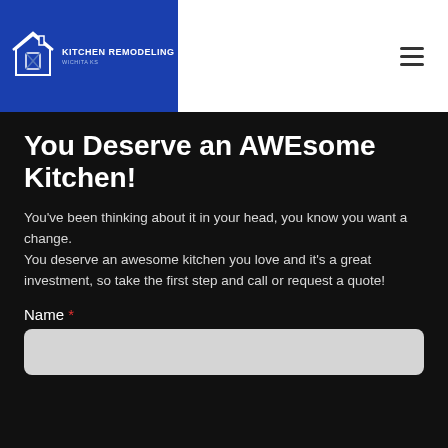[Figure (logo): Kitchen Remodeling Wichita KS logo with house icon on blue background]
You Deserve an AWEsome Kitchen!
You've been thinking about it in your head, you know you want a change. You deserve an awesome kitchen you love and it's a great investment, so take the first step and call or request a quote!
Name *